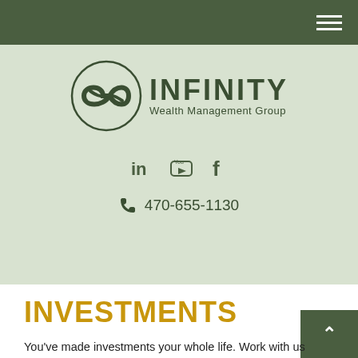[Figure (logo): Infinity Wealth Management Group logo — circular infinity symbol in dark green with INFINITY text and Wealth Management Group subtitle]
in  YouTube  f
470-655-1130
INVESTMENTS
You've made investments your whole life. Work with us to help make the most of them.